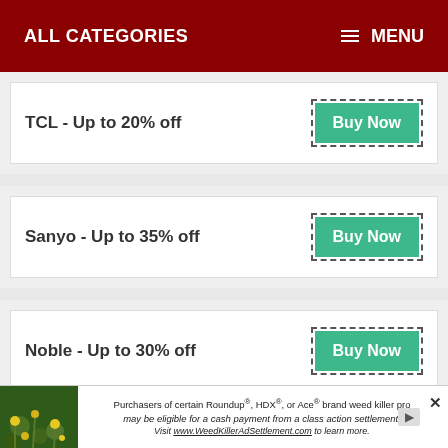ALL CATEGORIES   MENU
TCL - Up to 20% off
Sanyo - Up to 35% off
Noble - Up to 30% off
Philips - Up to 35% off
Purchasers of certain Roundup®, HDX®, or Ace® brand weed killer pro may be eligible for a cash payment from a class action settlement. Visit www.WeedKillerAdSettlement.com to learn more.